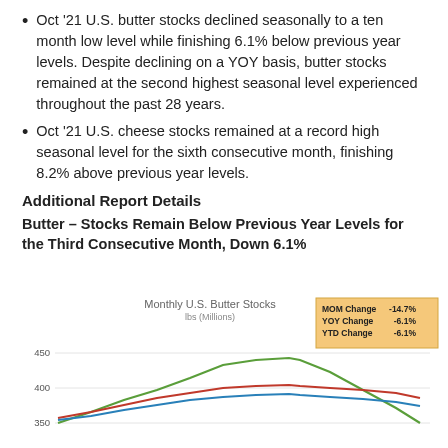Oct '21 U.S. butter stocks declined seasonally to a ten month low level while finishing 6.1% below previous year levels. Despite declining on a YOY basis, butter stocks remained at the second highest seasonal level experienced throughout the past 28 years.
Oct '21 U.S. cheese stocks remained at a record high seasonal level for the sixth consecutive month, finishing 8.2% above previous year levels.
Additional Report Details
Butter – Stocks Remain Below Previous Year Levels for the Third Consecutive Month, Down 6.1%
[Figure (line-chart): Line chart showing Monthly U.S. Butter Stocks in lbs (Millions) with three lines (green, red, blue) and a legend showing MOM Change -14.7%, YOY Change -6.1%, YTD Change -6.1%. Y-axis shows values 350, 400, 450. Lines show seasonal patterns with green peaking highest around 420, red and blue lines around 360-375.]